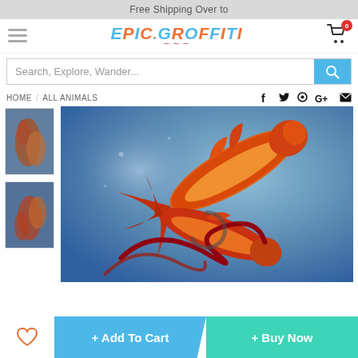Free Shipping Over to
[Figure (logo): Epic Graffiti logo with colorful lettering and decorative swirl underline]
[Figure (screenshot): Search bar with placeholder text 'Search, Explore, Wander...' and blue search button]
HOME / ALL ANIMALS
[Figure (infographic): Social share icons: Facebook, Twitter, Pinterest, Google+, Email]
[Figure (photo): Thumbnail image 1 of koi fish painting on blue/grey background]
[Figure (photo): Thumbnail image 2 of koi fish painting on blue/grey background]
[Figure (photo): Main large product image: painting of two red/orange koi fish on blue/grey abstract background with loading spinner]
+ Add To Cart
+ Buy Now